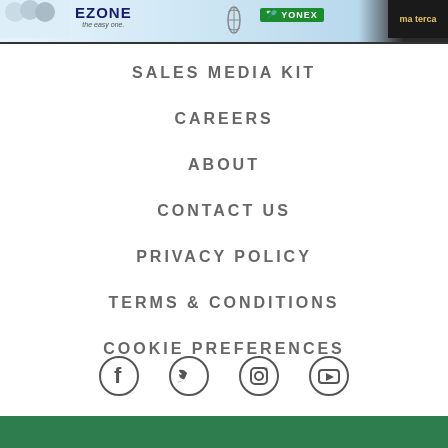[Figure (illustration): Advertisement banner showing Yonex Ezone racket with players, Yonex logo, and Masterca branding]
SALES MEDIA KIT
CAREERS
ABOUT
CONTACT US
PRIVACY POLICY
TERMS & CONDITIONS
COOKIE PREFERENCES
[Figure (illustration): Social media icons row: Facebook, Twitter, Instagram, YouTube]